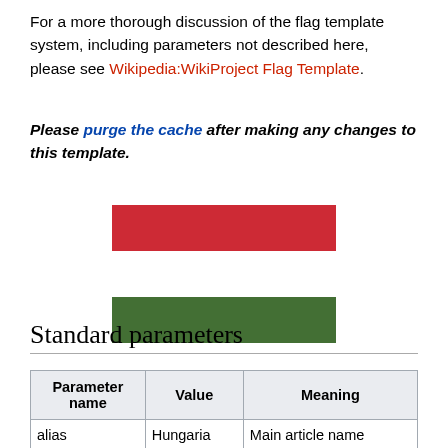For a more thorough discussion of the flag template system, including parameters not described here, please see Wikipedia:WikiProject Flag Template.
Please purge the cache after making any changes to this template.
[Figure (illustration): Hungarian flag showing three horizontal stripes: red on top, white in the middle, and green on the bottom.]
Standard parameters
| Parameter name | Value | Meaning |
| --- | --- | --- |
| alias | Hungaria | Main article name |